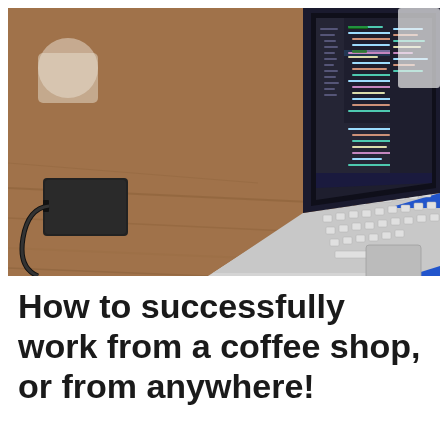[Figure (photo): A laptop (Microsoft Surface) on a wooden table in a coffee shop, with a dark code editor open on the screen. A black power bank and cables are visible on the left side of the table, along with a coffee cup in the background.]
How to successfully work from a coffee shop, or from anywhere!